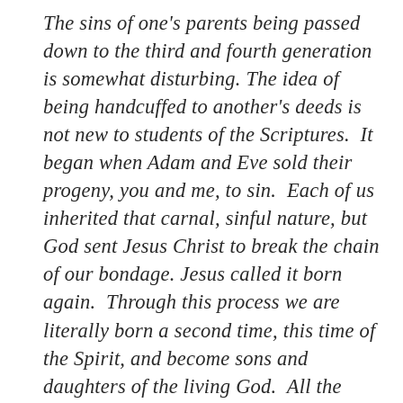The sins of one's parents being passed down to the third and fourth generation is somewhat disturbing. The idea of being handcuffed to another's deeds is not new to students of the Scriptures. It began when Adam and Eve sold their progeny, you and me, to sin. Each of us inherited that carnal, sinful nature, but God sent Jesus Christ to break the chain of our bondage. Jesus called it born again. Through this process we are literally born a second time, this time of the Spirit, and become sons and daughters of the living God. All the chains of carnal inheritance, even epigenetic ones, are